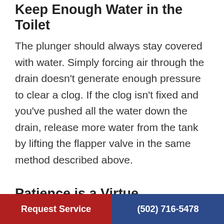Keep Enough Water in the Toilet
The plunger should always stay covered with water. Simply forcing air through the drain doesn't generate enough pressure to clear a clog. If the clog isn't fixed and you've pushed all the water down the drain, release more water from the tank by lifting the flapper valve in the same method described above.
Patience is a Virtue
If you're dealing with a serious clog, you'll have to be patient. Most clogs won't require more than 15
Request Service   (502) 716-5478